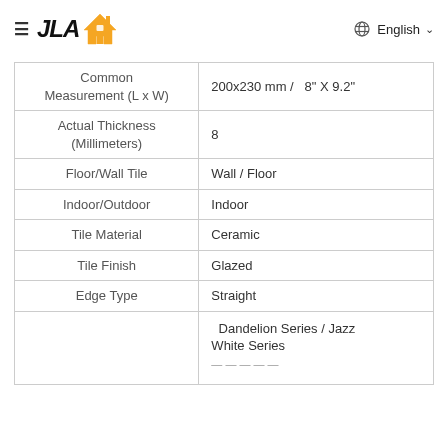[Figure (logo): JLA Home logo with hamburger menu icon and house icon]
English
| Common Measurement (L x W) | 200x230 mm /   8" X 9.2" |
| Actual Thickness (Millimeters) | 8 |
| Floor/Wall Tile | Wall / Floor |
| Indoor/Outdoor | Indoor |
| Tile Material | Ceramic |
| Tile Finish | Glazed |
| Edge Type | Straight |
|  | Dandelion Series / Jazz White Series |